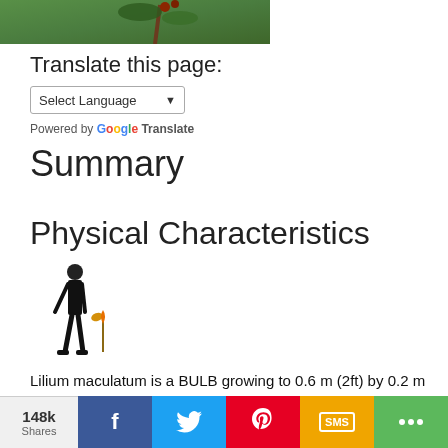[Figure (photo): Partial photo of a plant with green leaves and reddish-brown branches against a green background]
Translate this page:
Select Language
Powered by Google Translate
Summary
Physical Characteristics
[Figure (illustration): Small illustration of a person in black suit standing with a small plant/seedling beside them, indicating scale]
Lilium maculatum is a BULB growing to 0.6 m (2ft) by 0.2 m (0ft 8in).
See above for USDA hardiness. It is hardy to UK zone 4. It is in flower from July to August, and the seeds ripen from September to October. The species is hermaphrodite (f...
148k Shares  f  Twitter  Pinterest  SMS  Share